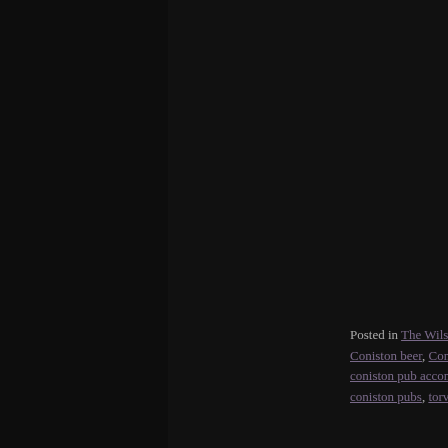Posted in The Wilsons Blog | Tagged CAMRA, Coniston beer, Coniston do..., coniston pub accommodation, coniston pub food, coniston pubs, torver ac...